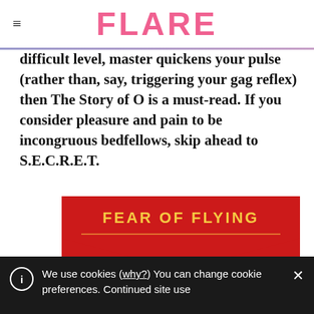FLARE
difficult level, master quickens your pulse (rather than, say, triggering your gag reflex) then The Story of O is a must-read. If you consider pleasure and pain to be incongruous bedfellows, skip ahead to S.E.C.R.E.T.
[Figure (illustration): Book cover of 'Fear of Flying' by Erica Jong. Red background with yellow title text 'FEAR OF FLYING' and a horizontal yellow line, cream/beige lower portion with author name 'Erica Jong' in orange italic script.]
We use cookies (why?) You can change cookie preferences. Continued site use